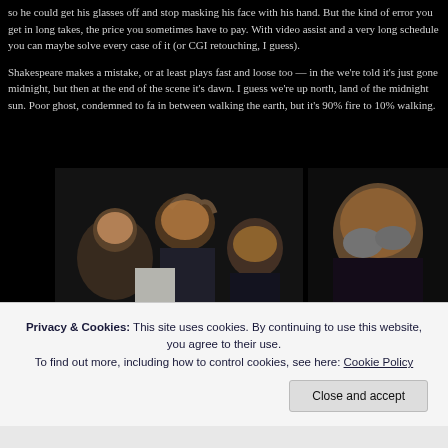so he could get his glasses off and stop masking his face with his hand. But the kind of error you get in long takes, the price you sometimes have to pay. With video assist and a very long schedule you can maybe solve every case of it (or CGI retouching, I guess).
Shakespeare makes a mistake, or at least plays fast and loose too — in the we're told it's just gone midnight, but then at the end of the scene it's dawn. I guess we're up north, land of the midnight sun. Poor ghost, condemned to fa in between walking the earth, but it's 90% fire to 10% walking.
[Figure (photo): Film stills showing medieval-looking men with distressed expressions, appearing to be from a classic film adaptation]
Privacy & Cookies: This site uses cookies. By continuing to use this website, you agree to their use. To find out more, including how to control cookies, see here: Cookie Policy
Close and accept